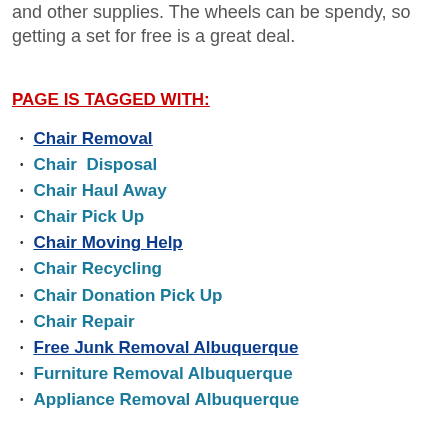and other supplies. The wheels can be spendy, so getting a set for free is a great deal.
PAGE IS TAGGED WITH:
Chair Removal
Chair  Disposal
Chair Haul Away
Chair Pick Up
Chair Moving Help
Chair Recycling
Chair Donation Pick Up
Chair Repair
Free Junk Removal Albuquerque
Furniture Removal Albuquerque
Appliance Removal Albuquerque